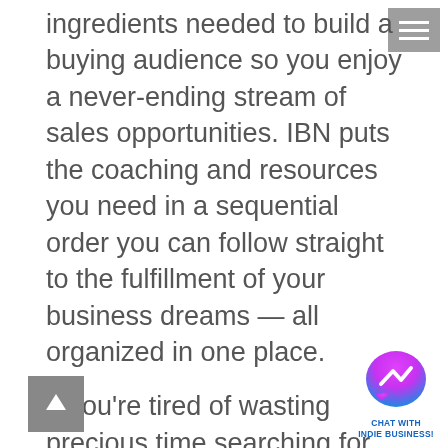ingredients needed to build a buying audience so you enjoy a never-ending stream of sales opportunities. IBN puts the coaching and resources you need in a sequential order you can follow straight to the fulfillment of your business dreams — all organized in one place.
If you're tired of wasting precious time searching for the right advice or wondering what you should do first (or next), you have come to the right place.
[Figure (logo): Hamburger menu icon — three white horizontal lines on grey background, top right corner]
[Figure (logo): Back-to-top button — white upward arrow on grey square background, bottom left corner]
[Figure (logo): Facebook Messenger chat widget — gradient purple/pink chat bubble icon with lightning bolt, labeled CHAT WITH INDIE BUSINESS! in blue text, bottom right corner]